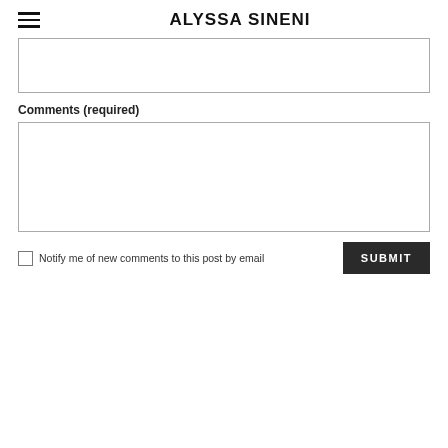ALYSSA SINENI
Comments (required)
Notify me of new comments to this post by email
SUBMIT